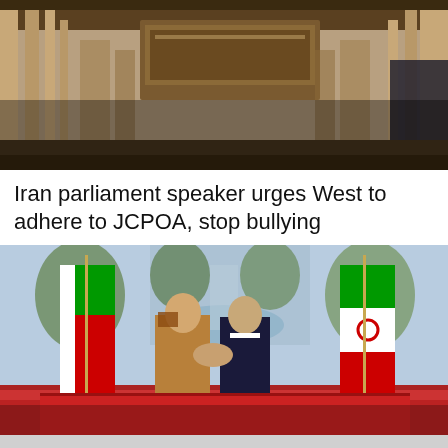[Figure (photo): Interior photo showing ornate wooden architectural details, columns and ceiling of what appears to be a formal governmental hall or parliament chamber]
Iran parliament speaker urges West to adhere to JCPOA, stop bullying
[Figure (photo): Two men shaking hands outdoors in front of Oman and Iran flags, with a fountain and trees in the background. One man wears traditional Omani dress, the other wears a dark suit. They stand on a red carpet.]
Iran FM: No talk of good, lasting agreement unless issues agreed upon